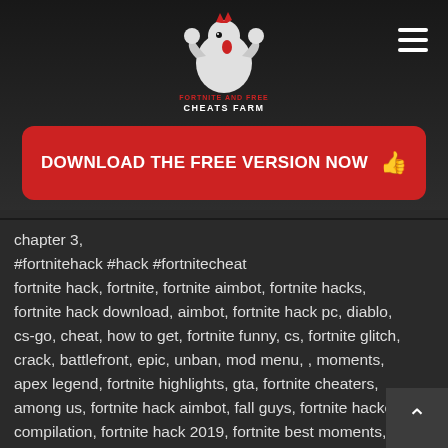[Figure (logo): Cheats Farm rooster mascot logo with text 'CHEATS FARM']
DOWNLOAD THE FREE VERSION NOW
chapter 3,
#fortnitehack #hack #fortnitecheat
fortnite hack, fortnite, fortnite aimbot, fortnite hacks,
fortnite hack download, aimbot, fortnite hack pc, diablo,
cs-go, cheat, how to get, fortnite funny, cs, fortnite glitch,
crack, battlefront, epic, unban, mod menu, , moments,
apex legend, fortnite highlights, gta, fortnite cheaters,
among us, fortnite hack aimbot, fall guys, fortnite hacker
compilation, fortnite hack 2019, fortnite best moments,
fortnite update, fortnite battle royal, fortnite aim assist,
softaim fortnite, tutorial, funny, fortnite soft aimbot,
ytmcgamer, soft aim fortnite, mcgamer, fortnite softaim,